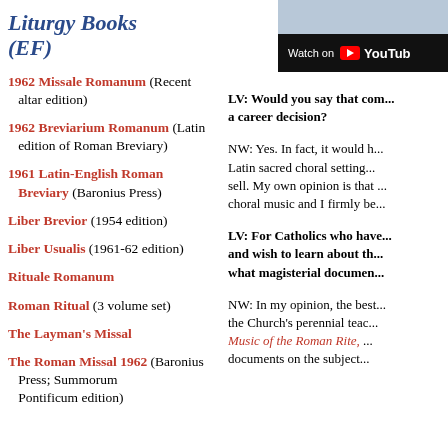Liturgy Books (EF)
[Figure (screenshot): YouTube 'Watch on YouTube' button with blue/grey background]
1962 Missale Romanum (Recent altar edition)
1962 Breviarium Romanum (Latin edition of Roman Breviary)
1961 Latin-English Roman Breviary (Baronius Press)
Liber Brevior (1954 edition)
Liber Usualis (1961-62 edition)
Rituale Romanum
Roman Ritual (3 volume set)
The Layman's Missal
The Roman Missal 1962 (Baronius Press; Summorum Pontificum edition)
LV: Would you say that composing... a career decision?
NW: Yes. In fact, it would ... Latin sacred choral settings ... sell. My own opinion is that ... choral music and I firmly be...
LV: For Catholics who have... and wish to learn about th... what magisterial documen...
NW: In my opinion, the best... the Church's perennial teac... Music of the Roman Rite, ... documents on the subject...